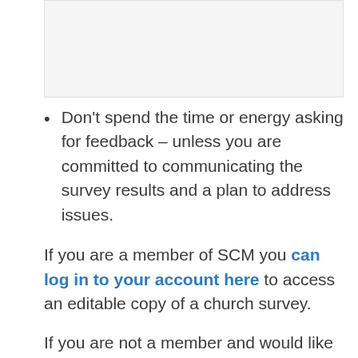Don't spend the time or energy asking for feedback – unless you are committed to communicating the survey results and a plan to address issues.
If you are a member of SCM you can log in to your account here to access an editable copy of a church survey.
If you are not a member and would like access to editable copies of those...